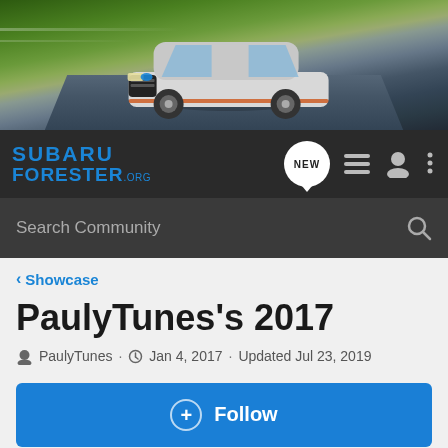[Figure (photo): Subaru Forester SUV driving on a road with green tree background, banner image for SubaruForester.org website]
[Figure (screenshot): Navigation bar with Subaru Forester logo, NEW badge icon, list icon, profile icon, and more options icon]
[Figure (screenshot): Search bar with placeholder text 'Search Community' and search icon]
< Showcase
PaulyTunes's 2017
PaulyTunes · Jan 4, 2017 · Updated Jul 23, 2019
+ Follow